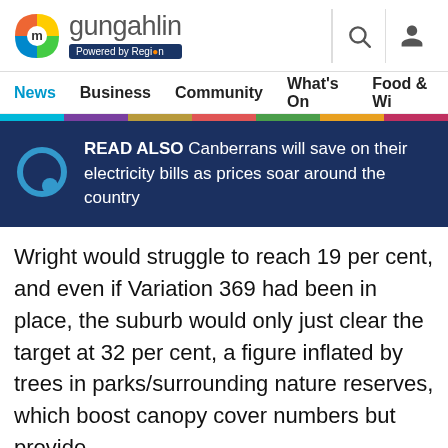[Figure (logo): My Gungahlin logo with colorful icon and 'Powered by Region' badge]
my gungahlin — Powered by Region
News | Business | Community | What's On | Food & Wi
READ ALSO Canberrans will save on their electricity bills as prices soar around the country
Wright would struggle to reach 19 per cent, and even if Variation 369 had been in place, the suburb would only just clear the target at 32 per cent, a figure inflated by trees in parks/surrounding nature reserves, which boost canopy cover numbers but provide